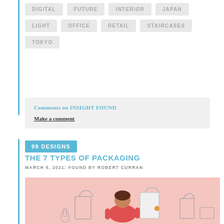DIGITAL
FUTURE
INTERIOR
JAPAN
LIGHT
OFFICE
RETAIL
STAIRCASES
TOKYO
Comments on INSIGHT FOUND
Make a comment
99 DESIGNS
THE 7 TYPES OF PACKAGING
MARCH 6, 2021: FOUND BY ROBERT CURRAN
[Figure (illustration): Illustration of a person in a red shirt holding a white bag, surrounded by various packaging items including bags and bottles, on a pink background.]